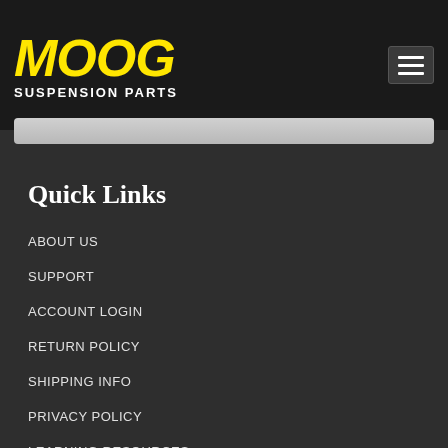[Figure (logo): MOOG Suspension Parts logo in yellow italic bold text on dark background]
Quick Links
ABOUT US
SUPPORT
ACCOUNT LOGIN
RETURN POLICY
SHIPPING INFO
PRIVACY POLICY
LEARNING RESOURCES